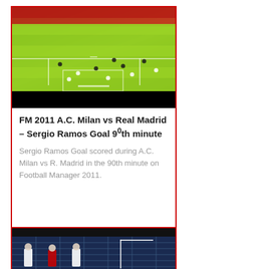[Figure (screenshot): Video thumbnail showing a football/soccer match from a top-down aerial view with a green pitch, players visible on the field, with a black bar at the bottom. From Football Manager 2011 game.]
FM 2011 A.C. Milan vs Real Madrid – Sergio Ramos Goal 90th minute
Sergio Ramos Goal scored during A.C. Milan vs R. Madrid in the 90th minute on Football Manager 2011.
262 views
[Figure (screenshot): Second video thumbnail showing football players in white and dark jerseys standing near a goal post on a dark blue pitch background.]